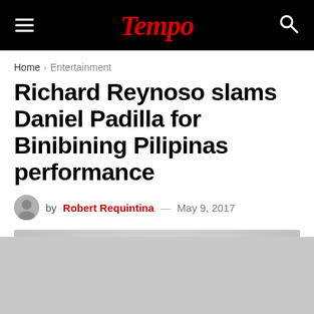Tempo
Home > Entertainment
Richard Reynoso slams Daniel Padilla for Binibining Pilipinas performance
by Robert Requintina — May 9, 2017
[Figure (photo): Photo of a person, showing the top of their head with dark hair against a light grey background]